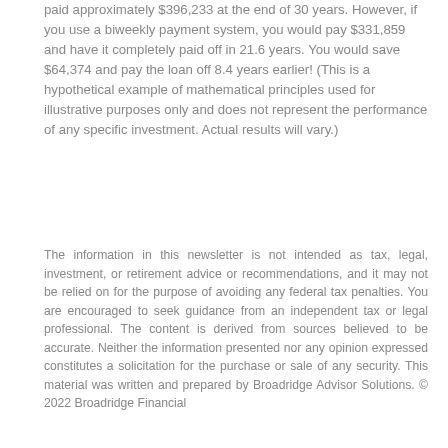paid approximately $396,233 at the end of 30 years. However, if you use a biweekly payment system, you would pay $331,859 and have it completely paid off in 21.6 years. You would save $64,374 and pay the loan off 8.4 years earlier! (This is a hypothetical example of mathematical principles used for illustrative purposes only and does not represent the performance of any specific investment. Actual results will vary.)
The information in this newsletter is not intended as tax, legal, investment, or retirement advice or recommendations, and it may not be relied on for the purpose of avoiding any federal tax penalties. You are encouraged to seek guidance from an independent tax or legal professional. The content is derived from sources believed to be accurate. Neither the information presented nor any opinion expressed constitutes a solicitation for the purchase or sale of any security. This material was written and prepared by Broadridge Advisor Solutions. © 2022 Broadridge Financial